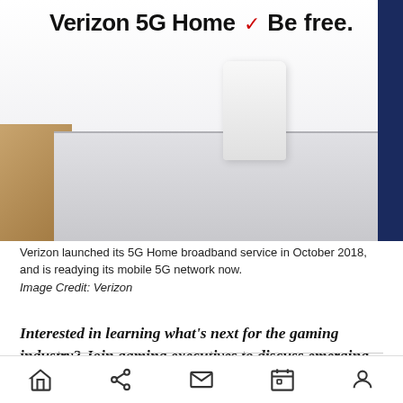[Figure (photo): Verizon 5G Home advertisement showing a white router device on a shelf with the text 'Verizon 5G Home' and 'Be free.' and a red checkmark logo, dark navy background on the right side.]
Verizon launched its 5G Home broadband service in October 2018, and is readying its mobile 5G network now.
Image Credit: Verizon
Interested in learning what's next for the gaming industry? Join gaming executives to discuss emerging parts of the industry this October at GamesBeat Summit Next. Register today.
Navigation bar with home, share, mail, calendar, and profile icons